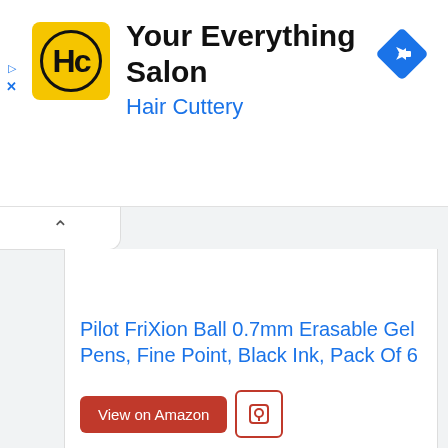[Figure (logo): Hair Cuttery HC logo, yellow square with black circle border containing HC letters]
Your Everything Salon
Hair Cuttery
[Figure (illustration): Blue diamond-shaped navigation/directions icon with white right-turn arrow]
Pilot FriXion Ball 0.7mm Erasable Gel Pens, Fine Point, Black Ink, Pack Of 6
View on Amazon